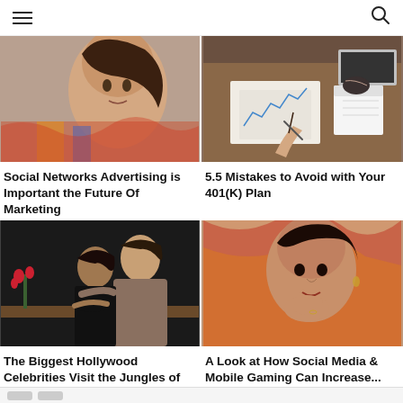≡ [search icon]
[Figure (photo): Woman lying down, looking at camera, colorful fabric background]
[Figure (photo): Overhead view of person at desk with documents, coffee cup, laptop and calendar]
Social Networks Advertising is Important the Future Of Marketing
5.5 Mistakes to Avoid with Your 401(K) Plan
[Figure (photo): Couple embracing in a dark modern interior, woman with arms crossed]
[Figure (photo): Woman resting chin on hand, looking at camera, colorful fabric background]
The Biggest Hollywood Celebrities Visit the Jungles of Thailand
A Look at How Social Media & Mobile Gaming Can Increase...